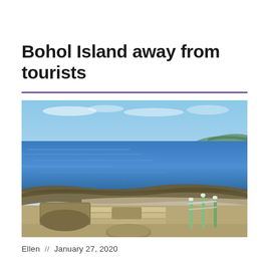Bohol Island away from tourists
[Figure (photo): Coastal scene at Bohol Island showing a rocky shoreline with calm blue sea water, white stone steps and green metal railings leading down to the water, under a partly cloudy blue sky.]
Ellen  //   January 27, 2020